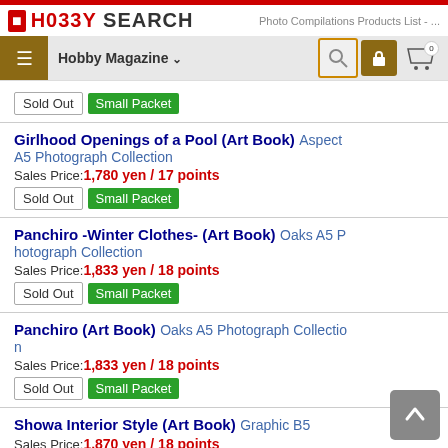HOBBY SEARCH — Photo Compilations Products List - ...
Sold Out | Small Packet
Girlhood Openings of a Pool (Art Book) Aspect A5 Photograph Collection
Sales Price: 1,780 yen / 17 points
Sold Out | Small Packet
Panchiro -Winter Clothes- (Art Book) Oaks A5 Photograph Collection
Sales Price: 1,833 yen / 18 points
Sold Out | Small Packet
Panchiro (Art Book) Oaks A5 Photograph Collection
Sales Price: 1,833 yen / 18 points
Sold Out | Small Packet
Showa Interior Style (Art Book) Graphic B5
Sales Price: 1,870 yen / 18 points
Back-order | Small Packet